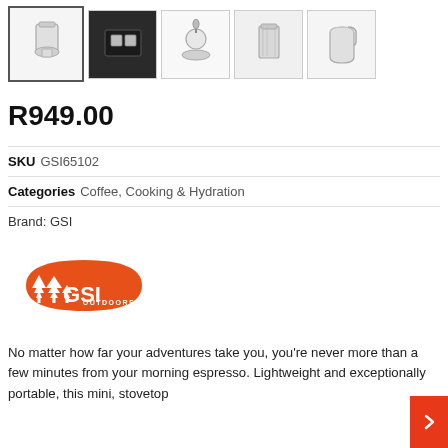[Figure (photo): Five product thumbnail images of GSI espresso maker in stainless steel, shown from different angles. First thumbnail has a selected border.]
R949.00
| SKU | GSI65102 |
| Categories | Coffee, Cooking & Hydration |
| Brand: GSI |  |
[Figure (logo): GSI Outdoors logo — orange rounded badge shape with white tree silhouettes and GSI text in white, OUTDOORS below in smaller text.]
No matter how far your adventures take you, you're never more than a few minutes from your morning espresso. Lightweight and exceptionally portable, this mini, stovetop